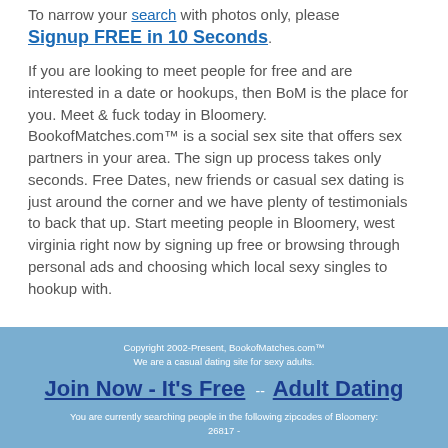To narrow your search with photos only, please Signup FREE in 10 Seconds.
If you are looking to meet people for free and are interested in a date or hookups, then BoM is the place for you. Meet & fuck today in Bloomery. BookofMatches.com™ is a social sex site that offers sex partners in your area. The sign up process takes only seconds. Free Dates, new friends or casual sex dating is just around the corner and we have plenty of testimonials to back that up. Start meeting people in Bloomery, west virginia right now by signing up free or browsing through personal ads and choosing which local sexy singles to hookup with.
Copyright 2002-Present, BookofMatches.com™
We are a casual dating site for sexy adults.
Join Now - It's Free -- Adult Dating
You are currently searching people in the following zipcodes of Bloomery:
26817 -